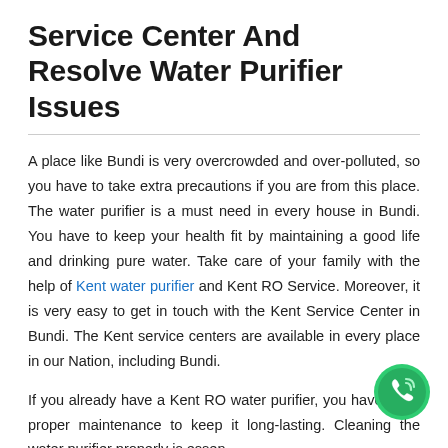Service Center And Resolve Water Purifier Issues
A place like Bundi is very overcrowded and over-polluted, so you have to take extra precautions if you are from this place. The water purifier is a must need in every house in Bundi. You have to keep your health fit by maintaining a good life and drinking pure water. Take care of your family with the help of Kent water purifier and Kent RO Service. Moreover, it is very easy to get in touch with the Kent Service Center in Bundi. The Kent service centers are available in every place in our Nation, including Bundi.
If you already have a Kent RO water purifier, you have to do proper maintenance to keep it long-lasting. Cleaning the water purifier properly is essen... Moreover, if you face any problem regarding the Kent